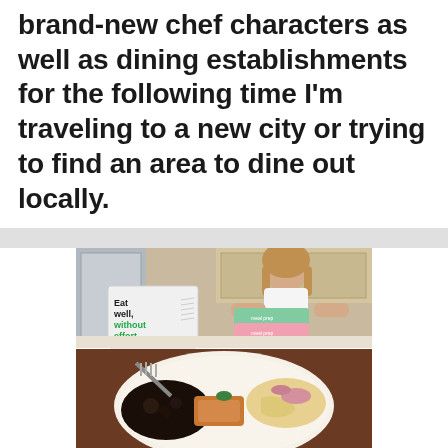brand-new chef characters as well as dining establishments for the following time I'm traveling to a new city or trying to find an area to dine out locally.
[Figure (photo): Two-panel photo collage. Top panel: A woman in a kitchen holding green and pink meal prep containers, with a white insulated delivery bag in front displaying 'Eat well, without effort.' in green and black text. Bottom panel: A close-up of a restaurant plate with black beans, protein, and garnished noodles with pickled onions.]